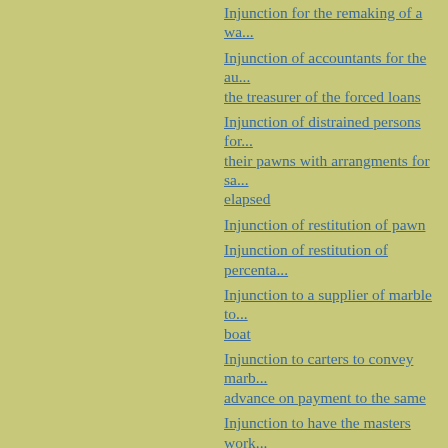Injunction for the remaking of a wa...
Injunction of accountants for the au... the treasurer of the forced loans
Injunction of distrained persons for... their pawns with arrangments for sa... elapsed
Injunction of restitution of pawn
Injunction of restitution of percenta...
Injunction to a supplier of marble to... boat
Injunction to carters to convey marb... advance on payment to the same
Injunction to have the masters work... on pain of dismissal
Injunction to kilnman regarding the... full of stones with threat of demand... guarantor for the advance received
Injunction to kilnman to consign mo... restitution of amount due to the Ope...
Injunction to kilnmen for supply of... for the great cupola
Injunction to kilnmen with term for... broad bricks as in previous contract...